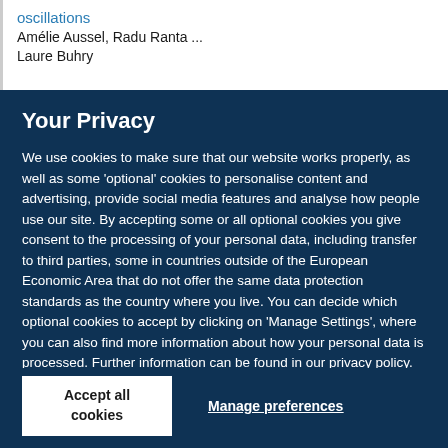oscillations
Amélie Aussel, Radu Ranta ...
Laure Buhry
Your Privacy
We use cookies to make sure that our website works properly, as well as some 'optional' cookies to personalise content and advertising, provide social media features and analyse how people use our site. By accepting some or all optional cookies you give consent to the processing of your personal data, including transfer to third parties, some in countries outside of the European Economic Area that do not offer the same data protection standards as the country where you live. You can decide which optional cookies to accept by clicking on 'Manage Settings', where you can also find more information about how your personal data is processed. Further information can be found in our privacy policy.
Accept all cookies
Manage preferences